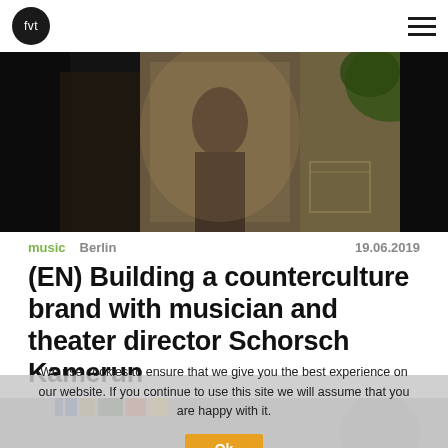fvt
[Figure (photo): Dark outdoor photograph showing people near a market or street scene, figures visible against a bright background with some greenery]
music   Berlin   19.06.2019
(EN) Building a counterculture brand with musician and theater director Schorsch Kamerun
[Figure (photo): Partial view of a second image below the title showing colorful background with a person]
We use cookies to ensure that we give you the best experience on our website. If you continue to use this site we will assume that you are happy with it.